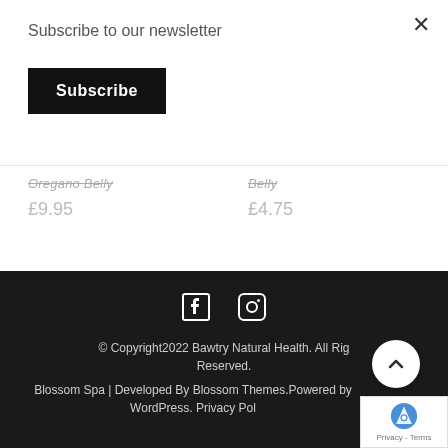Subscribe to our newsletter
Subscribe
Oregano Belly
£9.95
Belly
£4.75
[Figure (illustration): Facebook and Instagram social media icons in white on dark background]
© Copyright2022 Bawtry Natural Health. All Rights Reserved. Blossom Spa | Developed By Blossom Themes.Powered by WordPress. Privacy Pol…